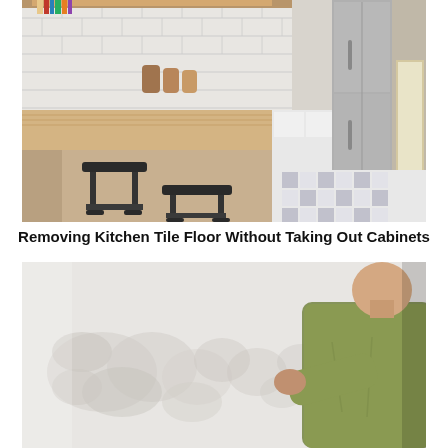[Figure (photo): Kitchen interior with wooden L-shaped counter/island, two black metal bar stools, white subway tile backsplash, open shelving with books and items, stainless steel refrigerator, and decorative patterned black-and-white tile floor visible in background.]
Removing Kitchen Tile Floor Without Taking Out Cabinets
[Figure (photo): Person in olive/green shirt working on a white wall, appears to be plastering or removing tile from a wall with decorative residue/pattern visible on the white surface.]